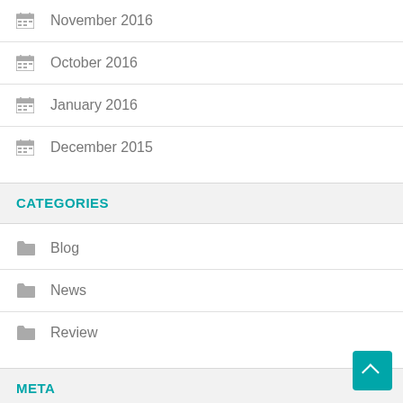November 2016
October 2016
January 2016
December 2015
CATEGORIES
Blog
News
Review
META
Log in